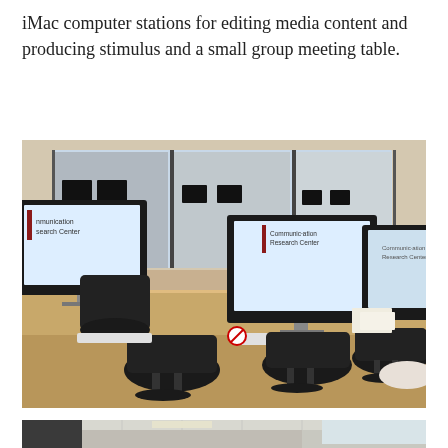iMac computer stations for editing media content and producing stimulus and a small group meeting table.
[Figure (photo): Row of iMac computer stations with Communication Research Center branding on screens, black office chairs, wooden desk surface, and a large window looking into an adjacent room.]
[Figure (photo): Partial view of another room, showing a window and ceiling lights, captured from a doorway or corridor.]